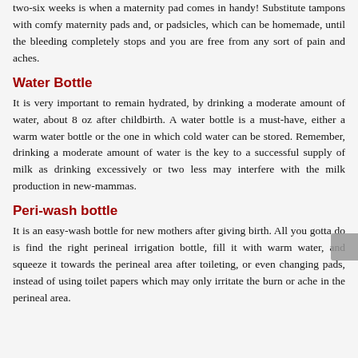two-six weeks is when a maternity pad comes in handy! Substitute tampons with comfy maternity pads and, or padsicles, which can be homemade, until the bleeding completely stops and you are free from any sort of pain and aches.
Water Bottle
It is very important to remain hydrated, by drinking a moderate amount of water, about 8 oz after childbirth. A water bottle is a must-have, either a warm water bottle or the one in which cold water can be stored. Remember, drinking a moderate amount of water is the key to a successful supply of milk as drinking excessively or two less may interfere with the milk production in new-mammas.
Peri-wash bottle
It is an easy-wash bottle for new mothers after giving birth. All you gotta do is find the right perineal irrigation bottle, fill it with warm water, and squeeze it towards the perineal area after toileting, or even changing pads, instead of using toilet papers which may only irritate the burn or ache in the perineal area.